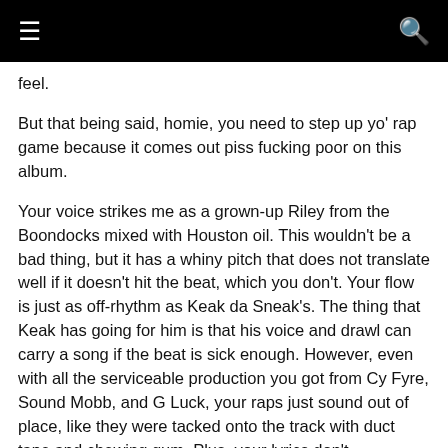≡  🔍
feel.
But that being said, homie, you need to step up yo' rap game because it comes out piss fucking poor on this album.
Your voice strikes me as a grown-up Riley from the Boondocks mixed with Houston oil. This wouldn't be a bad thing, but it has a whiny pitch that does not translate well if it doesn't hit the beat, which you don't. Your flow is just as off-rhythm as Keak da Sneak's. The thing that Keak has going for him is that his voice and drawl can carry a song if the beat is sick enough. However, even with all the serviceable production you got from Cy Fyre, Sound Mobb, and G Luck, your raps just sound out of place, like they were tacked onto the track with duct tape and chewing gum. Plus, your lyrics don't differentiate you from any other Houston rapper that's tried to play this game like you. No rhythm, no swagger, no lyrics, no voice. I'm sorry homie, I just can't find anything good about your actual rapping skills on this album.
I mean, you got yourself some knockin' beats. "Be Okay" hits hard and fast and doesn't let up, the beat is mixed and layered well and the